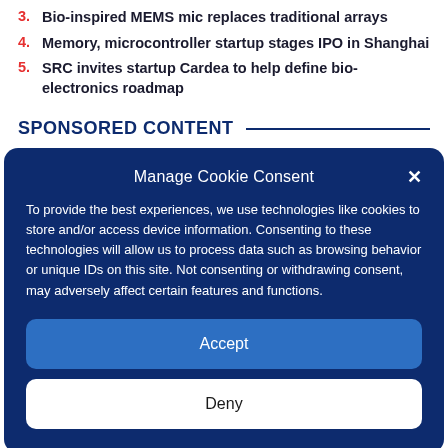3. Bio-inspired MEMS mic replaces traditional arrays
4. Memory, microcontroller startup stages IPO in Shanghai
5. SRC invites startup Cardea to help define bio-electronics roadmap
SPONSORED CONTENT
Manage Cookie Consent
To provide the best experiences, we use technologies like cookies to store and/or access device information. Consenting to these technologies will allow us to process data such as browsing behavior or unique IDs on this site. Not consenting or withdrawing consent, may adversely affect certain features and functions.
Accept
Deny